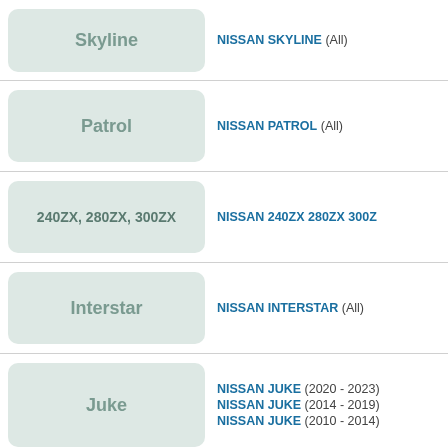[Figure (other): Thumbnail image placeholder for Nissan Skyline showing text 'Skyline']
NISSAN SKYLINE (All)
[Figure (other): Thumbnail image placeholder for Nissan Patrol showing text 'Patrol']
NISSAN PATROL (All)
[Figure (other): Thumbnail image placeholder for Nissan 240ZX 280ZX 300ZX showing text '240ZX, 280ZX, 300ZX']
NISSAN 240ZX 280ZX 300Z
[Figure (other): Thumbnail image placeholder for Nissan Interstar showing text 'Interstar']
NISSAN INTERSTAR (All)
[Figure (other): Thumbnail image placeholder for Nissan Juke showing text 'Juke']
NISSAN JUKE (2020 - 2023)
NISSAN JUKE (2014 - 2019)
NISSAN JUKE (2010 - 2014)
[Figure (other): Thumbnail image placeholder for Nissan 350Z showing text '350Z']
NISSAN 350Z (All)